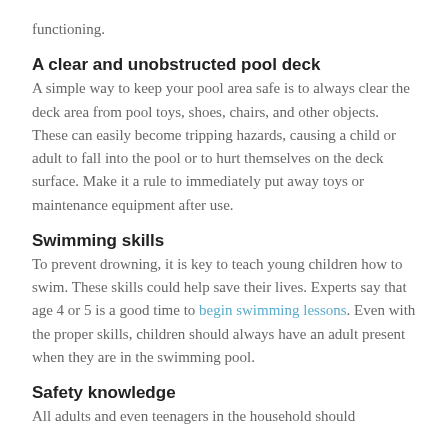functioning.
A clear and unobstructed pool deck
A simple way to keep your pool area safe is to always clear the deck area from pool toys, shoes, chairs, and other objects. These can easily become tripping hazards, causing a child or adult to fall into the pool or to hurt themselves on the deck surface. Make it a rule to immediately put away toys or maintenance equipment after use.
Swimming skills
To prevent drowning, it is key to teach young children how to swim. These skills could help save their lives. Experts say that age 4 or 5 is a good time to begin swimming lessons. Even with the proper skills, children should always have an adult present when they are in the swimming pool.
Safety knowledge
All adults and even teenagers in the household should